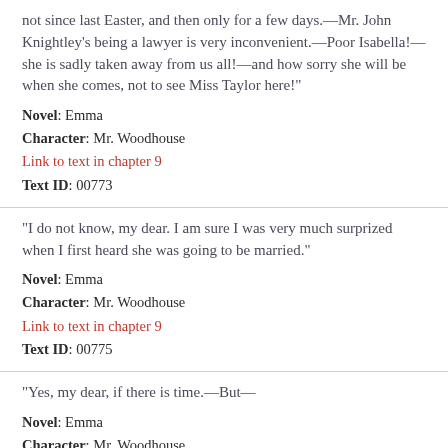not since last Easter, and then only for a few days.—Mr. John Knightley's being a lawyer is very inconvenient.—Poor Isabella!—she is sadly taken away from us all!—and how sorry she will be when she comes, not to see Miss Taylor here!"
Novel: Emma
Character: Mr. Woodhouse
Link to text in chapter 9
Text ID: 00773
"I do not know, my dear. I am sure I was very much surprized when I first heard she was going to be married."
Novel: Emma
Character: Mr. Woodhouse
Link to text in chapter 9
Text ID: 00775
"Yes, my dear, if there is time.—But—
Novel: Emma
Character: Mr. Woodhouse
Link to text in chapter 9
Text ID: 00777